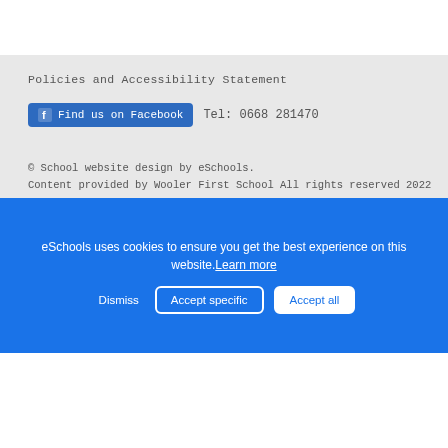Policies and Accessibility Statement
Find us on Facebook  Tel: 0668 281470
© School website design by eSchools.
Content provided by Wooler First School All rights reserved 2022
15 Brewery Lane, Wooler, Northumberland NE71 6QF
[Figure (logo): Q mark award logo with red and blue circular border and blue Q letter]
eSchools uses cookies to ensure you get the best experience on this website. Learn more
Dismiss  Accept specific  Accept all